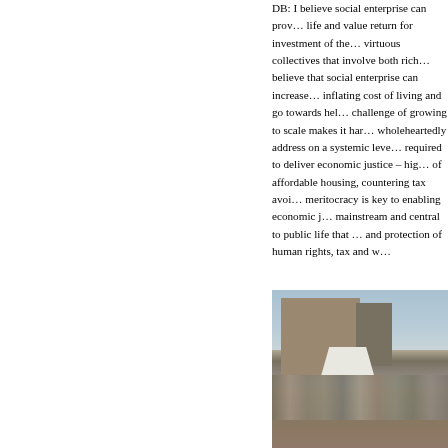DB: I believe social enterprise can provide quality of life and value return for investment of the future — virtuous collectives that involve both rich … I believe that social enterprise can increase … inflating cost of living and go towards hel… challenge of growing to scale makes it har… wholeheartedly address on a systemic leve… required to deliver economic justice – hig… of affordable housing, countering tax avoi… meritocracy is key to enabling economic j… mainstream and central to public life that … and protection of human rights, tax and w…
[Figure (photo): Outdoor public event or market scene with crowds of people gathered on a plaza or open ground area, with a large historic stone building and a modern tall building visible in the background. White market/event tents are set up on the left side. People are standing and sitting in an open area.]